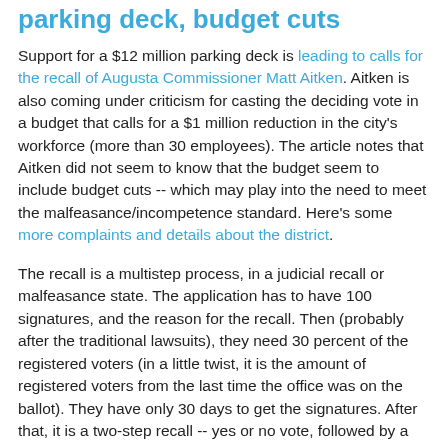parking deck, budget cuts
Support for a $12 million parking deck is leading to calls for the recall of Augusta Commissioner Matt Aitken. Aitken is also coming under criticism for casting the deciding vote in a budget that calls for a $1 million reduction in the city's workforce (more than 30 employees). The article notes that Aitken did not seem to know that the budget seem to include budget cuts -- which may play into the need to meet the malfeasance/incompetence standard. Here's some more complaints and details about the district.
The recall is a multistep process, in a judicial recall or malfeasance state. The application has to have 100 signatures, and the reason for the recall. Then (probably after the traditional lawsuits), they need 30 percent of the registered voters (in a little twist, it is the amount of registered voters from the last time the office was on the ballot). They have only 30 days to get the signatures. After that, it is a two-step recall -- yes or no vote, followed by a (later day) replacement vote.